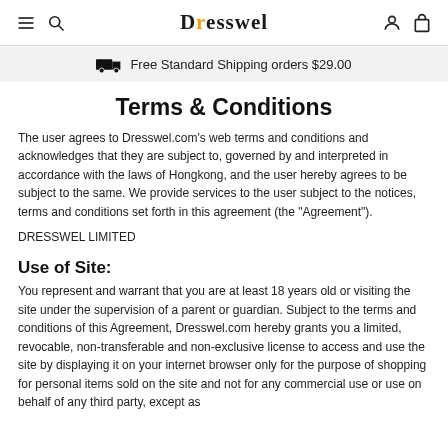Dresswel — navigation header with hamburger menu, search, logo, account and cart icons
Free Standard Shipping orders $29.00
Terms & Conditions
The user agrees to Dresswel.com's web terms and conditions and acknowledges that they are subject to, governed by and interpreted in accordance with the laws of Hongkong, and the user hereby agrees to be subject to the same. We provide services to the user subject to the notices, terms and conditions set forth in this agreement (the "Agreement").
DRESSWEL LIMITED
Use of Site:
You represent and warrant that you are at least 18 years old or visiting the site under the supervision of a parent or guardian. Subject to the terms and conditions of this Agreement, Dresswel.com hereby grants you a limited, revocable, non-transferable and non-exclusive license to access and use the site by displaying it on your internet browser only for the purpose of shopping for personal items sold on the site and not for any commercial use or use on behalf of any third party, except as